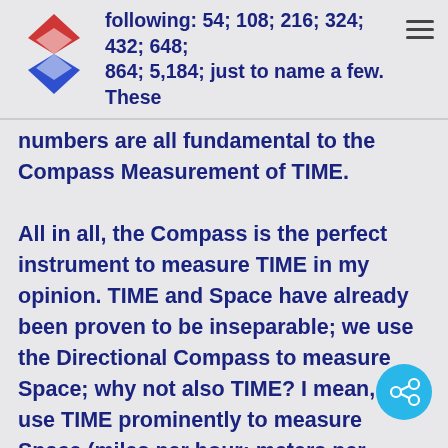following: 54; 108; 216; 324; 432; 648; 864; 5,184; just to name a few. These
numbers are all fundamental to the Compass Measurement of TIME.

All in all, the Compass is the perfect instrument to measure TIME in my opinion. TIME and Space have already been proven to be inseparable; we use the Directional Compass to measure Space; why not also TIME? I mean, we use TIME prominently to measure Space (miles per hour; meters per second, etc).....should we be looking at